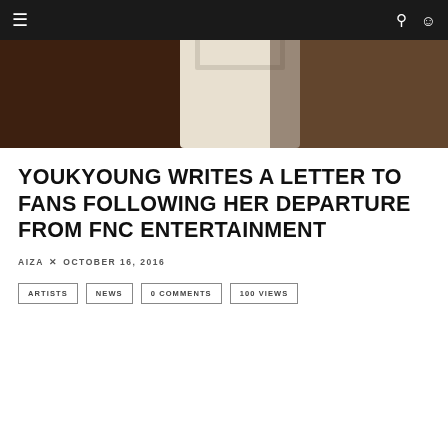Navigation bar with hamburger menu, search icon, and user icon
[Figure (photo): Hero image showing a person wearing a white outfit, with warm brown tones in background]
YOUKYOUNG WRITES A LETTER TO FANS FOLLOWING HER DEPARTURE FROM FNC ENTERTAINMENT
AIZA × OCTOBER 16, 2016
ARTISTS  NEWS  0 COMMENTS  100 VIEWS